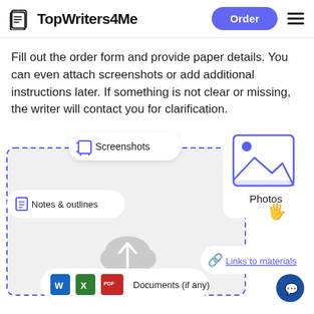TopWriters4Me — Order
Fill out the order form and provide paper details. You can even attach screenshots or add additional instructions later. If something is not clear or missing, the writer will contact you for clarification.
[Figure (infographic): Infographic showing types of files/content that can be attached to an order: Screenshots, Notes & outlines, Documents (if any — Word, Excel, PDF icons), Photos, Links to materials. Central upload cloud icon with dashed border box.]